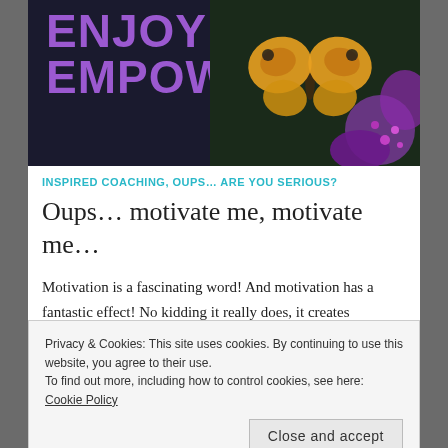[Figure (photo): Website banner with dark background showing text ENJOY! EMPOWER! in purple, with butterfly and flowers on the right side]
INSPIRED COACHING, OUPS… ARE YOU SERIOUS?
Oups… motivate me, motivate me…
Motivation is a fascinating word! And motivation has a fantastic effect! No kidding it really does, it creates movement. Actually that's no surprise since motivation comes from the Late Latin movere, which means to move. Motivation is simply about movement and being motivated is
Privacy & Cookies: This site uses cookies. By continuing to use this website, you agree to their use.
To find out more, including how to control cookies, see here: Cookie Policy
Close and accept